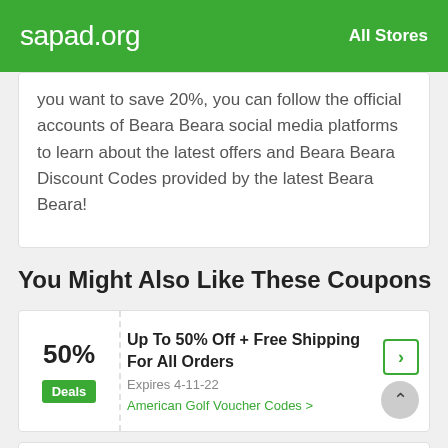sapad.org  All Stores
you want to save 20%, you can follow the official accounts of Beara Beara social media platforms to learn about the latest offers and Beara Beara Discount Codes provided by the latest Beara Beara!
You Might Also Like These Coupons
50% | Deals | Up To 50% Off + Free Shipping For All Orders | Expires 4-11-22 | American Golf Voucher Codes >